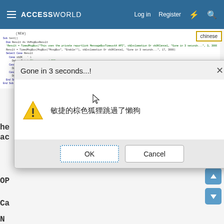ACCESSWORLD   Log in   Register
[Figure (screenshot): Screenshot of a code editor showing VBA code for a timed MessageBox function, with a dialog overlay showing 'Gone in 3 seconds...!' warning dialog containing Chinese text '敏捷的棕色狐狸跳過了懶狗', OK and Cancel buttons, and a 'chinese' tag in top-right corner.]